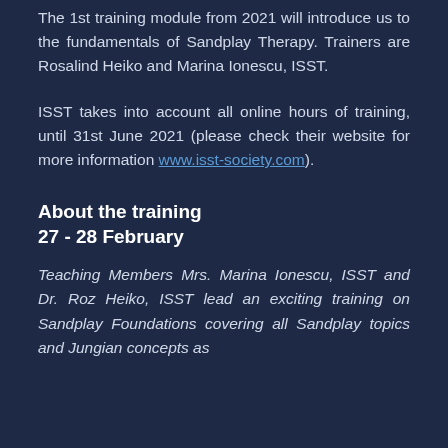The 1st training module from 2021 will introduce us to the fundamentals of Sandplay Therapy. Trainers are Rosalind Heiko and Marina Ionescu, ISST.
ISST takes into account all online hours of training, until 31st June 2021 (please check their website for more information www.isst-society.com).
About the training
27 - 28 February
Teaching Members Mrs. Marina Ionescu, ISST and Dr. Roz Heiko, ISST lead an exciting training on Sandplay Foundations covering all Sandplay topics and Jungian concepts as